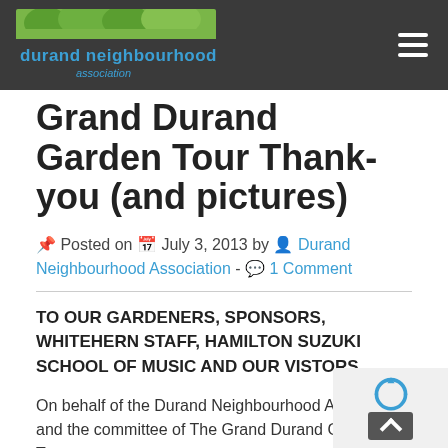[Figure (logo): Durand Neighbourhood Association logo with green/blue text on dark header bar, with hamburger menu icon on the right]
Grand Durand Garden Tour Thank-you (and pictures)
Posted on July 3, 2013 by Durand Neighbourhood Association - 1 Comment
TO OUR GARDENERS, SPONSORS, WHITEHERN STAFF, HAMILTON SUZUKI SCHOOL OF MUSIC AND OUR VISTORS
On behalf of the Durand Neighbourhood Association and the committee of The Grand Durand Garden Tour